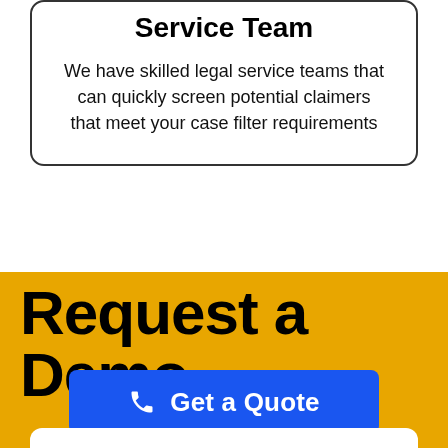Service Team
We have skilled legal service teams that can quickly screen potential claimers that meet your case filter requirements
Request a Demo
Get a Quote